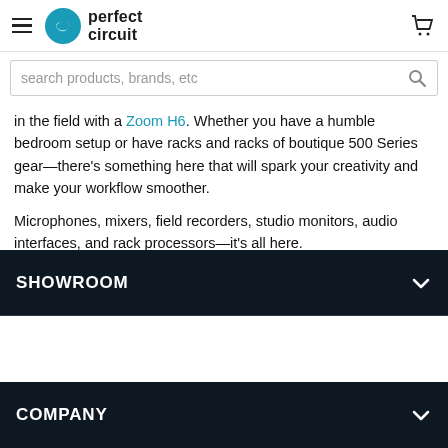Perfect Circuit
search products, brands, etc
in the field with a Zoom H6. Whether you have a humble bedroom setup or have racks and racks of boutique 500 Series gear—there's something here that will spark your creativity and make your workflow smoother.
Microphones, mixers, field recorders, studio monitors, audio interfaces, and rack processors—it's all here.
SHOWROOM
COMPANY